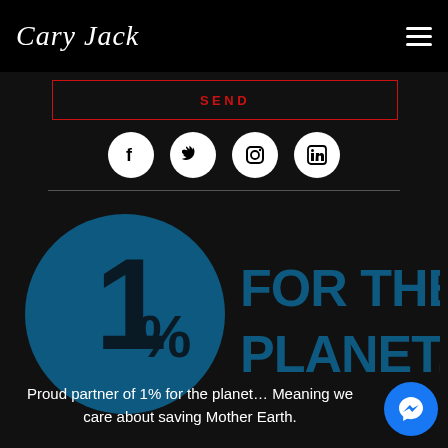Cary Jack
SEND
[Figure (screenshot): Four social media icons in white circles: Facebook, Twitter, Instagram, LinkedIn]
[Figure (logo): 1% for the Planet logo — dark blue circle with '1%' and text 'FOR THE PLANET.' to the right]
Proud partner of 1% for the planet… Meaning we care about saving Mother Earth.